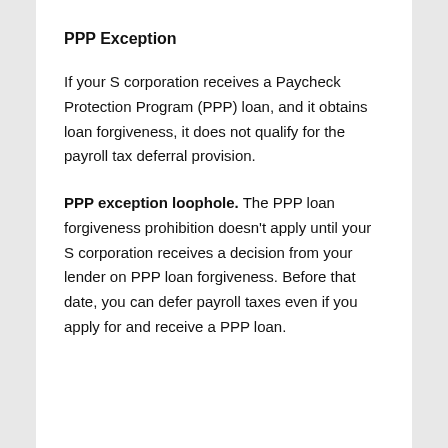PPP Exception
If your S corporation receives a Paycheck Protection Program (PPP) loan, and it obtains loan forgiveness, it does not qualify for the payroll tax deferral provision.
PPP exception loophole. The PPP loan forgiveness prohibition doesn't apply until your S corporation receives a decision from your lender on PPP loan forgiveness. Before that date, you can defer payroll taxes even if you apply for and receive a PPP loan.